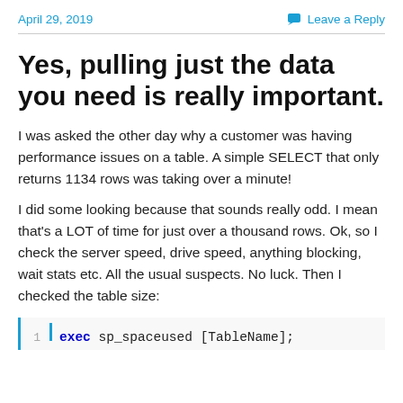April 29, 2019   Leave a Reply
Yes, pulling just the data you need is really important.
I was asked the other day why a customer was having performance issues on a table. A simple SELECT that only returns 1134 rows was taking over a minute!
I did some looking because that sounds really odd. I mean that's a LOT of time for just over a thousand rows. Ok, so I check the server speed, drive speed, anything blocking, wait stats etc. All the usual suspects. No luck. Then I checked the table size:
exec sp_spaceused [TableName];